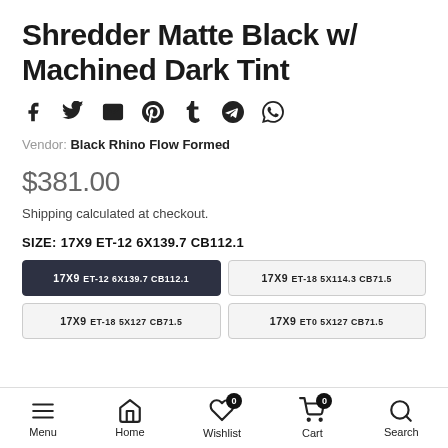Shredder Matte Black w/ Machined Dark Tint
Vendor: Black Rhino Flow Formed
$381.00
Shipping calculated at checkout.
SIZE: 17X9 ET-12 6X139.7 CB112.1
17x9 ET-12 6x139.7 CB112.1 (selected)
17x9 ET-18 5x114.3 CB71.5
17x9 ET-18 5x127 CB71.5
17x9 ET0 5x127 CB71.5
Menu | Home | Wishlist 0 | Cart 0 | Search